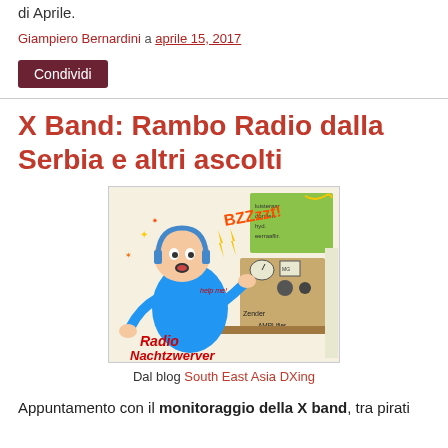di Aprile.
Giampiero Bernardini a aprile 15, 2017
Condividi
X Band: Rambo Radio dalla Serbia e altri ascolti
[Figure (illustration): Cartoon illustration of a man with headphones listening to a radio setup, labeled 'Radio Nachtzwerver'. Contains text 'BZZzzzt', 'help me!', 'Nederland', 'Zender', 'Amplifier'.]
Dal blog South East Asia DXing
Appuntamento con il monitoraggio della X band, tra pirati